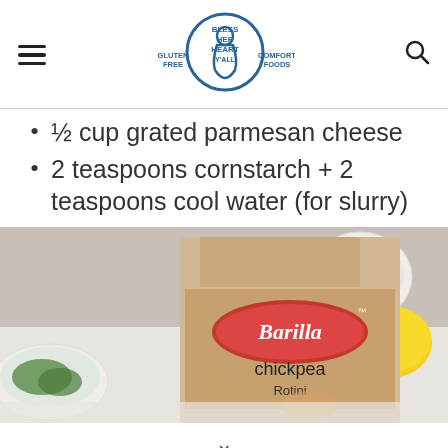Bless Her Heart Y'all — Gluten Free Comfort Foods
½ cup grated parmesan cheese
2 teaspoons cornstarch + 2 teaspoons cool water (for slurry)
[Figure (photo): A box of Barilla chickpea rotini pasta on a marble countertop, with a lemon and white bowl with herbs visible in the background.]
▾